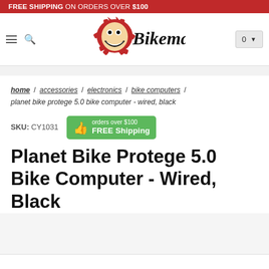FREE SHIPPING ON ORDERS OVER $100
[Figure (logo): Bikeman logo with cartoon face and text Bikeman]
home / accessories / electronics / bike computers / planet bike protege 5.0 bike computer - wired, black
SKU: CY1031   orders over $100 FREE Shipping
Planet Bike Protege 5.0 Bike Computer - Wired, Black